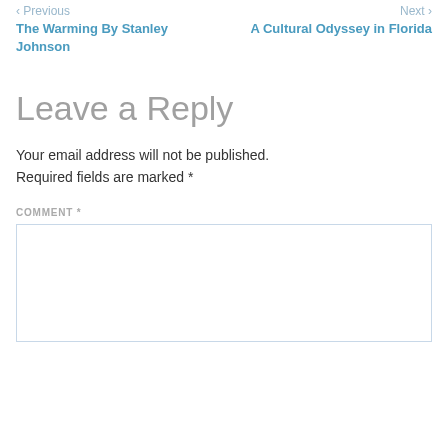< Previous
The Warming By Stanley Johnson
Next >
A Cultural Odyssey in Florida
Leave a Reply
Your email address will not be published.
Required fields are marked *
COMMENT *